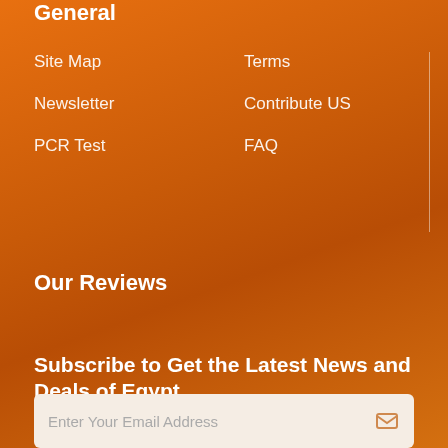General
Site Map
Terms
Newsletter
Contribute US
PCR Test
FAQ
Our Reviews
Subscribe to Get the Latest News and Deals of Egypt
Enter Your Email Address